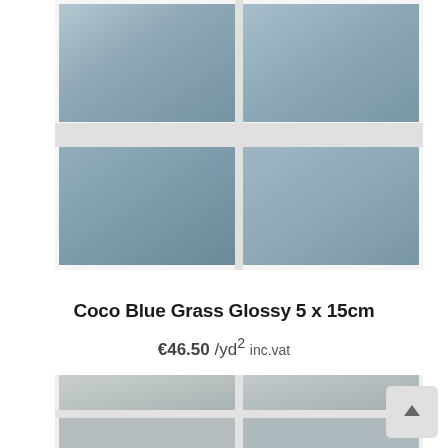[Figure (photo): Top product photo showing blue-grey glossy rectangular tiles arranged in two rows of two tiles each on a white background.]
Coco Blue Grass Glossy 5 x 15cm
€46.50 /yd² inc.vat
[Figure (photo): Bottom partial product photo showing light grey glossy rectangular tiles in a similar arrangement, partially cropped at the bottom of the page.]